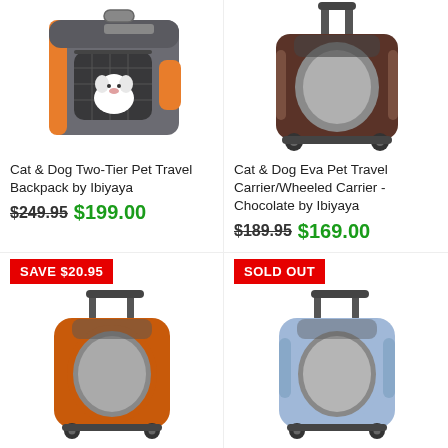[Figure (photo): Cat & Dog Two-Tier Pet Travel Backpack by Ibiyaya - grey and orange bag with small white dog inside]
[Figure (photo): Cat & Dog Eva Pet Travel Carrier/Wheeled Carrier - Chocolate by Ibiyaya - dark brown rolling carrier]
Cat & Dog Two-Tier Pet Travel Backpack by Ibiyaya
Cat & Dog Eva Pet Travel Carrier/Wheeled Carrier - Chocolate by Ibiyaya
$249.95 $199.00
$189.95 $169.00
SAVE $20.95
SOLD OUT
[Figure (photo): Orange and grey wheeled pet carrier with oval window]
[Figure (photo): Light blue and grey wheeled pet carrier with oval window]